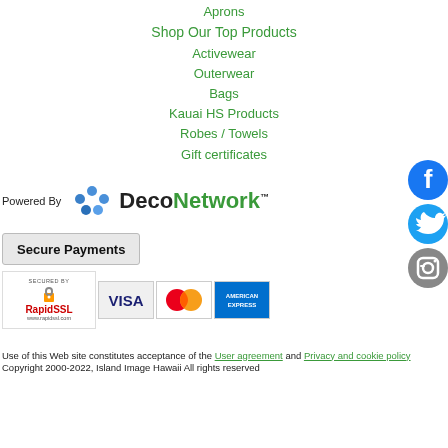Aprons
Shop Our Top Products
Activewear
Outerwear
Bags
Kauai HS Products
Robes / Towels
Gift certificates
[Figure (logo): Powered By DecoNetwork logo with blue dots and text]
[Figure (logo): Facebook, Twitter, and Instagram social media icons on the right side]
[Figure (infographic): Secure Payments box with RapidSSL badge and Visa, MasterCard, American Express logos]
Use of this Web site constitutes acceptance of the User agreement and Privacy and cookie policy
Copyright 2000-2022, Island Image Hawaii All rights reserved